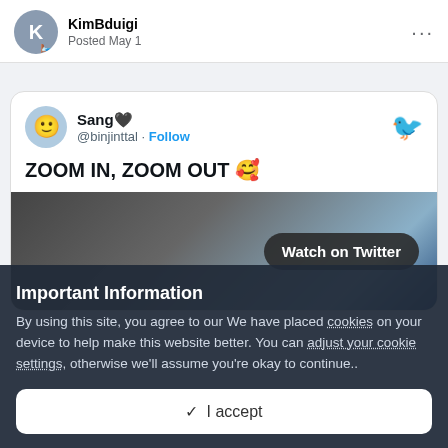KimBduigi · Posted May 1
[Figure (screenshot): Embedded tweet card from @binjinttal (Sang) with text 'ZOOM IN, ZOOM OUT 🥰' and a video thumbnail showing a person in a baseball cap with a 'Watch on Twitter' button overlay]
Important Information
By using this site, you agree to our We have placed cookies on your device to help make this website better. You can adjust your cookie settings, otherwise we'll assume you're okay to continue..
✓ I accept